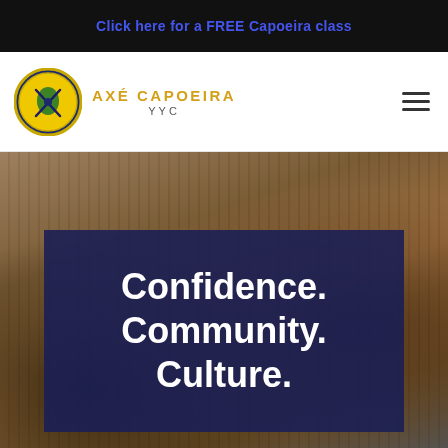Click here for a FREE Capoeira class
[Figure (logo): Axé Capoeira YYC circular logo with map of South America and crossed instruments on yellow and blue background]
AXÉ CAPOEIRA
YYC
[Figure (photo): Background photo showing berimbau musical instruments and sandy ground, with a dark navy blue overlay box containing the text 'Confidence. Community. Culture.']
Confidence.
Community.
Culture.